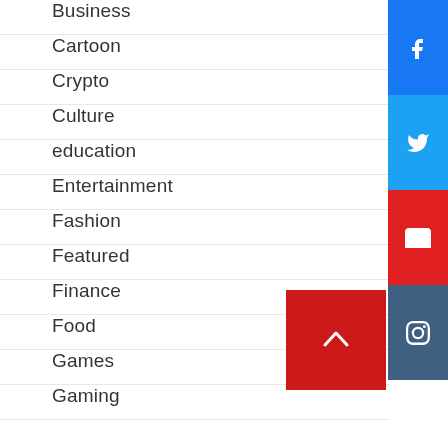Business
Cartoon
Crypto
Culture
education
Entertainment
Fashion
Featured
Finance
Food
Games
Gaming
[Figure (other): Social media sidebar buttons: Facebook, Twitter, YouTube, Instagram]